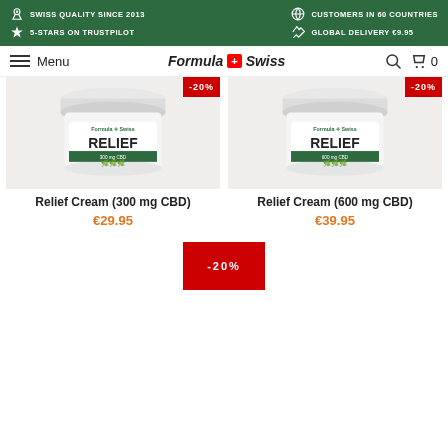SWISS QUALITY SINCE 2013 | 5-STARS ON TRUSTPILOT | CUSTOMERS IN 60 COUNTRIES | GLOBAL DELIVERY €9.95
[Figure (screenshot): Formula Swiss e-commerce navigation bar with menu, logo, search and cart icons]
[Figure (photo): Relief Cream 300 mg CBD product jar with -20% badge]
Relief Cream (300 mg CBD)
€29.95
[Figure (photo): Relief Cream 600 mg CBD product jar with -20% badge]
Relief Cream (600 mg CBD)
€39.95
[Figure (other): -20% discount badge for third product]